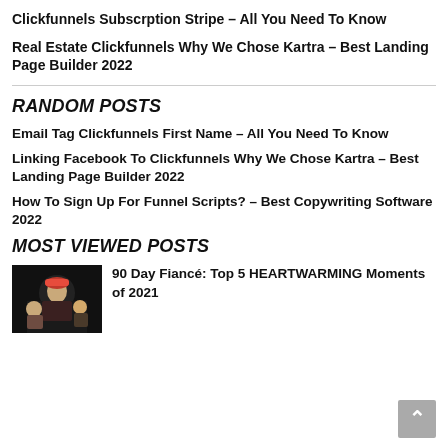Clickfunnels Subscrption Stripe – All You Need To Know
Real Estate Clickfunnels Why We Chose Kartra – Best Landing Page Builder 2022
RANDOM POSTS
Email Tag Clickfunnels First Name – All You Need To Know
Linking Facebook To Clickfunnels Why We Chose Kartra – Best Landing Page Builder 2022
How To Sign Up For Funnel Scripts? – Best Copywriting Software 2022
MOST VIEWED POSTS
[Figure (photo): Wedding photo showing a groom in traditional Indian attire (red turban) with other people in the background]
90 Day Fiancé: Top 5 HEARTWARMING Moments of 2021